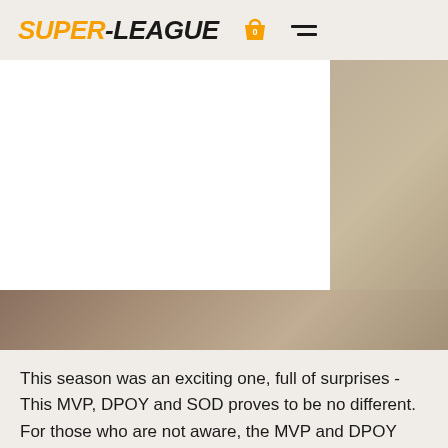SUPER-LEAGUE
[Figure (photo): Blurred/muted background image area with tan and brown tones beneath a white card overlay]
This season was an exciting one, full of surprises - This MVP, DPOY and SOD proves to be no different. For those who are not aware, the MVP and DPOY awards are voted by our GMs after each match. Each GM votes 3,2